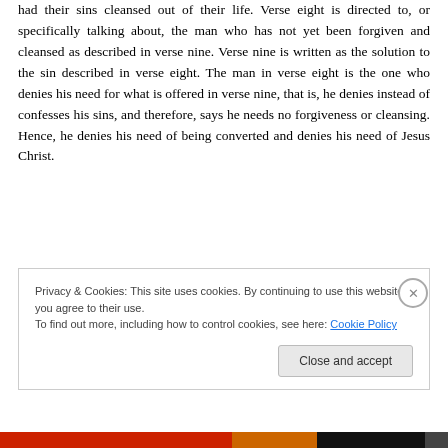had their sins cleansed out of their life. Verse eight is directed to, or specifically talking about, the man who has not yet been forgiven and cleansed as described in verse nine. Verse nine is written as the solution to the sin described in verse eight. The man in verse eight is the one who denies his need for what is offered in verse nine, that is, he denies instead of confesses his sins, and therefore, says he needs no forgiveness or cleansing. Hence, he denies his need of being converted and denies his need of Jesus Christ.
Privacy & Cookies: This site uses cookies. By continuing to use this website, you agree to their use. To find out more, including how to control cookies, see here: Cookie Policy